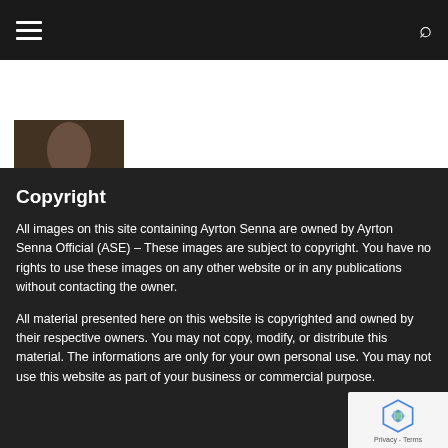Navigation header with hamburger menu and search icon
[Figure (photo): Small dark thumbnail photo of a person, partially visible]
Copyright
All images on this site containing Ayrton Senna are owned by Ayrton Senna Official (ASE) – These images are subject to copyright. You have no rights to use these images on any other website or in any publications without contacting the owner.
All material presented here on this website is copyrighted and owned by their respective owners. You may not copy, modify, or distribute this material. The informations are only for your own personal use. You may not use this website as part of your business or commercial purpose.